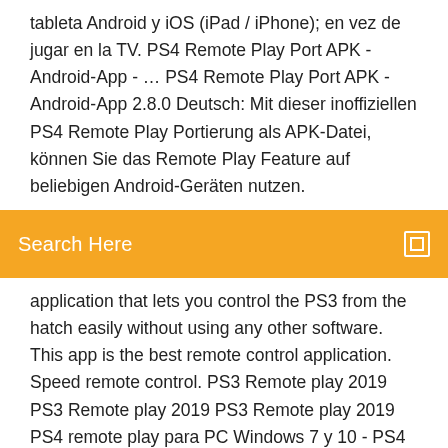tableta Android y iOS (iPad / iPhone); en vez de jugar en la TV. PS4 Remote Play Port APK - Android-App - ... PS4 Remote Play Port APK - Android-App 2.8.0 Deutsch: Mit dieser inoffiziellen PS4 Remote Play Portierung als APK-Datei, können Sie das Remote Play Feature auf beliebigen Android-Geräten nutzen.
Search Here
application that lets you control the PS3 from the hatch easily without using any other software. This app is the best remote control application. Speed remote control. PS3 Remote play 2019 PS3 Remote play 2019 PS3 Remote play 2019 PS4 remote play para PC Windows 7 y 10 - PS4 ... El remote play funciona muy bien para windows 7, ya que muchos usuarios y amantes de esta versión han logrado instalarlo y han podido establecer conexiones exitosas con el remote PS4. Una vez lograda la instalación de esta aplicación, es importante saber como poder jugar tus videojuegos favoritos y como poder conectar los